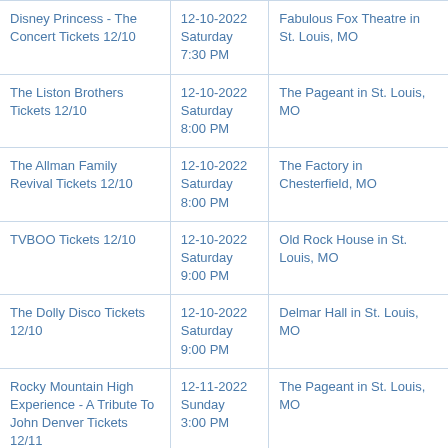| Event | Date/Time | Venue |
| --- | --- | --- |
| Disney Princess - The Concert Tickets 12/10 | 12-10-2022
Saturday
7:30 PM | Fabulous Fox Theatre in St. Louis, MO |
| The Liston Brothers Tickets 12/10 | 12-10-2022
Saturday
8:00 PM | The Pageant in St. Louis, MO |
| The Allman Family Revival Tickets 12/10 | 12-10-2022
Saturday
8:00 PM | The Factory in Chesterfield, MO |
| TVBOO Tickets 12/10 | 12-10-2022
Saturday
9:00 PM | Old Rock House in St. Louis, MO |
| The Dolly Disco Tickets 12/10 | 12-10-2022
Saturday
9:00 PM | Delmar Hall in St. Louis, MO |
| Rocky Mountain High Experience - A Tribute To John Denver Tickets 12/11 | 12-11-2022
Sunday
3:00 PM | The Pageant in St. Louis, MO |
| MAX Tickets 12/12 | 12-12-2022
Monday
8:00 PM | Delmar Hall in St. Louis, MO |
| Langhorne Slim Tickets 12/13 | 12-13-2022
Tuesday
8:00 PM | Off Broadway in St. Louis, MO |
| Peter Mayer Tickets 12/14 | 12-14-2022
Wednesday
7:30 PM | Delmar Hall in St. Louis, MO |
| A John Waters Christmas Tickets 12/14 | 12-14-2022
Wednesday
8:00 PM | Sheldon Concert Hall in St. Louis, MO |
|  | 12-15-2022 |  |